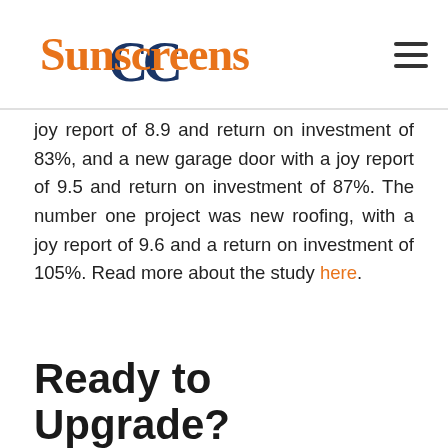[Figure (logo): CC Sunscreens logo with orange 'Sunscreens' text and navy blue overlapping CC letters, plus hamburger menu icon]
joy report of 8.9 and return on investment of 83%, and a new garage door with a joy report of 9.5 and return on investment of 87%. The number one project was new roofing, with a joy report of 9.6 and a return on investment of 105%. Read more about the study here.
Ready to Upgrade?